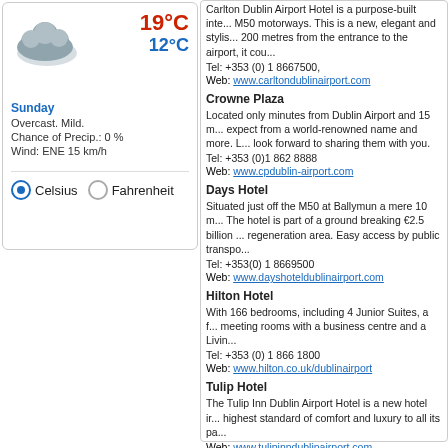[Figure (infographic): Weather widget showing cloud icon, 19°C high and 12°C low temperatures, Sunday, Overcast. Mild., Chance of Precip.: 0%, Wind: ENE 15 km/h, with Celsius/Fahrenheit radio buttons]
Carlton Dublin Airport Hotel is a purpose-built inte... M50 motorways. This is a new, elegant and stylis... 200 metres from the entrance to the airport, it cou...
Tel: +353 (0) 1 8667500,
Web: www.carltondublinairport.com
Crowne Plaza
Located only minutes from Dublin Airport and 15 m... expect from a world-renowned name and more. L... look forward to sharing them with you.
Tel: +353 (0)1 862 8888
Web: www.cpdublin-airport.com
Days Hotel
Situated just off the M50 at Ballymun a mere 10 m... The hotel is part of a ground breaking €2.5 billion ... regeneration area. Easy access by public transpo...
Tel: +353(0) 1 8669500
Web: www.dayshoteldublinairport.com
Hilton Hotel
With 166 bedrooms, including 4 Junior Suites, a f... meeting rooms with a business centre and a Livin...
Tel: +353 (0) 1 866 1800
Web: www.hilton.co.uk/dublinairport
Tulip Hotel
The Tulip Inn Dublin Airport Hotel is a new hotel ir... highest standard of comfort and luxury to all its pa...
Web: www.tulipinndublinairport.com